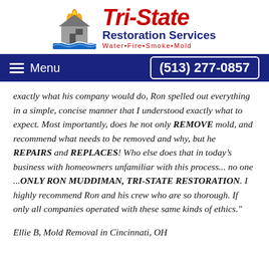[Figure (logo): Tri-State Restoration Services logo with house on fire and flood waters, red Tri-State text, blue Restoration Services text, Water Fire Smoke Mold tagline]
Menu   (513) 277-0857
exactly what his company would do, Ron spelled out everything in a simple, concise manner that I understood exactly what to expect. Most importantly, does he not only REMOVE mold, and recommend what needs to be removed and why, but he REPAIRS and REPLACES! Who else does that in today’s business with homeowners unfamiliar with this process... no one ...ONLY RON MUDDIMAN, TRI-STATE RESTORATION. I highly recommend Ron and his crew who are so thorough. If only all companies operated with these same kinds of ethics."
Ellie B, Mold Removal in Cincinnati, OH